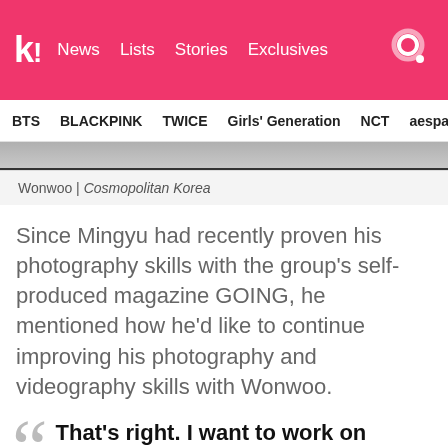koreaboo! | News | Lists | Stories | Exclusives
BTS | BLACKPINK | TWICE | Girls' Generation | NCT | aespa
Wonwoo | Cosmopolitan Korea
Since Mingyu had recently proven his photography skills with the group's self-produced magazine GOING, he mentioned how he'd like to continue improving his photography and videography skills with Wonwoo.
That's right. I want to work on photography and videography with Wonwoo and hold an exhibition to show Carats a new side of me through